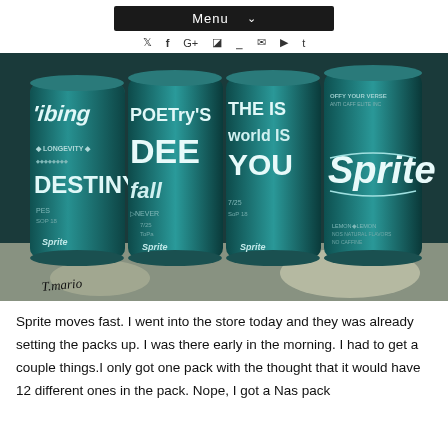Menu
[Figure (photo): Four Sprite soda cans with special edition text designs reading 'Living Longevity Destiny', 'Poetry Deep fall', 'The world is Yours', and plain Sprite logo. Cans are teal/green colored arranged in a row on a surface.]
Sprite moves fast. I went into the store today and they was already setting the packs up. I was there early in the morning. I had to get a couple things.I only got one pack with the thought that it would have 12 different ones in the pack. Nope, I got a Nas pack